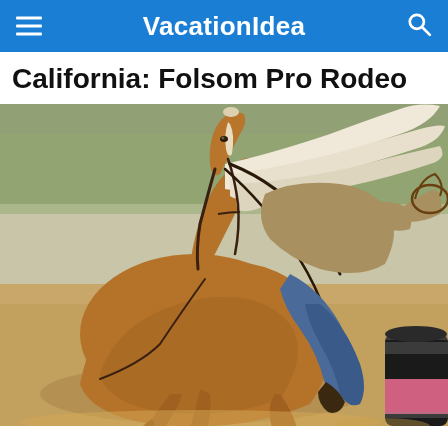VacationIdea
California: Folsom Pro Rodeo
[Figure (photo): A palomino/chestnut horse with flowing white mane galloping at full speed past a black and pink barrel in a dirt arena during barrel racing. A rider in blue jeans, boots, and a tan jacket is visible on the horse's back holding reins. The horse's mane is blown back dramatically. Green trees are visible in the blurred background.]